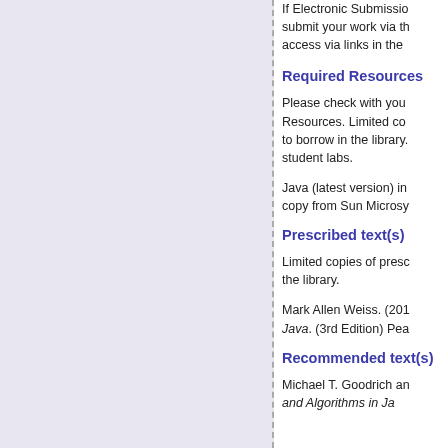If Electronic Submission is used, you must submit your work via the system. You can access via links in the
Required Resources
Please check with your Resources. Limited copies to borrow in the library. student labs.
Java (latest version) in copy from Sun Microsystems.
Prescribed text(s)
Limited copies of prescribed texts are in the library.
Mark Allen Weiss. (2012). Data Structures and Algorithms in Java. (3rd Edition) Pearson.
Recommended text(s)
Michael T. Goodrich and Algorithms in Java.